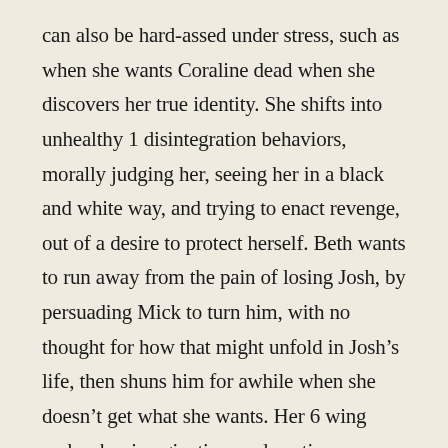can also be hard-assed under stress, such as when she wants Coraline dead when she discovers her true identity. She shifts into unhealthy 1 disintegration behaviors, morally judging her, seeing her in a black and white way, and trying to enact revenge, out of a desire to protect herself. Beth wants to run away from the pain of losing Josh, by persuading Mick to turn him, with no thought for how that might unfold in Josh’s life, then shuns him for awhile when she doesn’t get what she wants. Her 6 wing makes her imaginative, and cautious, playful with Mick, and indecisive about what she wants in life at times, but she is more cautious than Mick in terms of worrying about how things may backfire on them. She agrees with Josef the journalist who uncovered the truth about Mick needs to be killed to protect his secret.